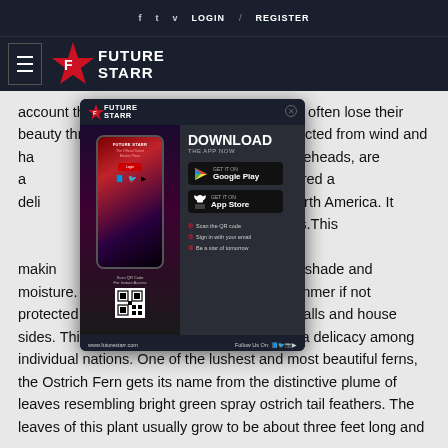f  t  v  LOGIN / REGISTER
FUTURE STARR
account that this [...]  leaves often lose their beauty through [...] if not protected from wind and ha[...] fronds, called fiddleheads, are a[...] ble, and are considered a deli[...] northeastern North America. It [...] eat uncooked fiddleheads.This [...] most as complete, making[...] These plants love shade and moisture. They can lose their color in the summer if not protected from wind and hail, so their near walls and house sides. This plant is edible and is considered a delicacy among individual nations. One of the lushest and most beautiful ferns, the Ostrich Fern gets its name from the distinctive plume of leaves resembling bright green spray ostrich tail feathers. The leaves of this plant usually grow to be about three feet long and
[Figure (screenshot): FutureStarr app download popup advertisement showing a phone mockup with a woman, logo, download CTA, Google Play and App Store buttons, QR code, and steps to get started.]